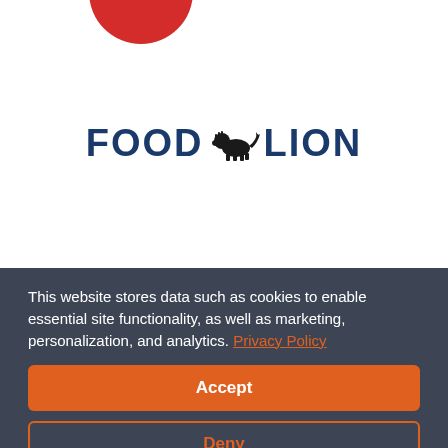[Figure (logo): Food Lion logo - red oval/ellipse shape at top (partially cropped), above the Food Lion wordmark with lion icon]
This website stores data such as cookies to enable essential site functionality, as well as marketing, personalization, and analytics. Privacy Policy
Accept
Deny